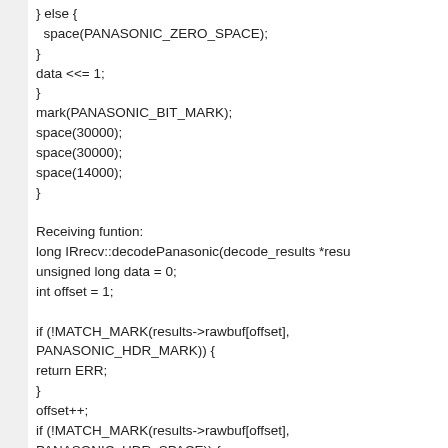} else {
  space(PANASONIC_ZERO_SPACE);
}
data <<= 1;
}
mark(PANASONIC_BIT_MARK);
space(30000);
space(30000);
space(14000);
}

Receiving funtion:
long IRrecv::decodePanasonic(decode_results *resu
unsigned long data = 0;
int offset = 1;

if (!MATCH_MARK(results->rawbuf[offset],
PANASONIC_HDR_MARK)) {
return ERR;
}
offset++;
if (!MATCH_MARK(results->rawbuf[offset],
PANASONIC_HDR_SPACE)) {
return ERR;